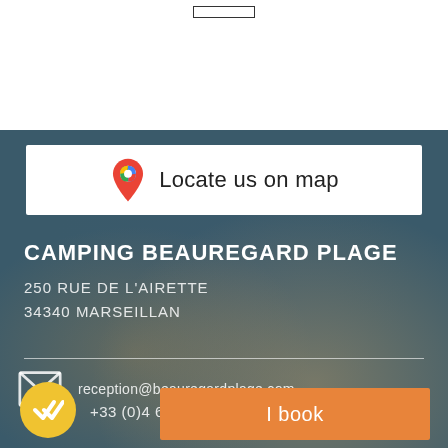[Figure (other): White top area with a rectangular outlined button at the top center of the page]
[Figure (other): White button with Google Maps pin icon and text 'Locate us on map' on dark beach background]
CAMPING BEAUREGARD PLAGE
250 RUE DE L'AIRETTE
34340 MARSEILLAN
reception@beauregardplage.com
+33 (0)4 6...
I book